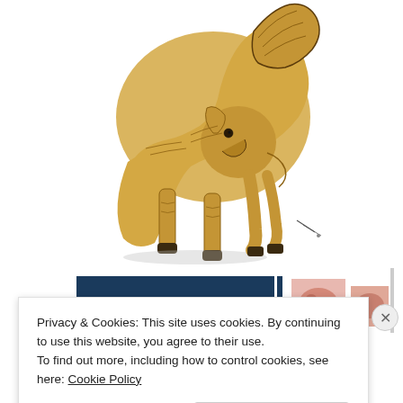[Figure (illustration): A vintage engraving/illustration of a ram or goat with large curved horns, facing left-downward, with detailed crosshatching and a yellowish-gold body color on a white background.]
[Figure (screenshot): Partial thumbnail strip below the main illustration showing a dark blue navigation bar and two small pink/reddish thumbnail images of animals.]
Privacy & Cookies: This site uses cookies. By continuing to use this website, you agree to their use.
To find out more, including how to control cookies, see here: Cookie Policy